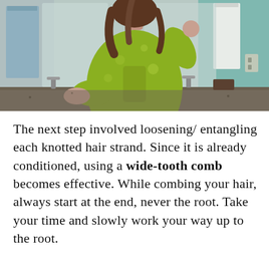[Figure (photo): A woman in a green floral robe standing at a bathroom vanity, viewed from behind, with her hand raised to her hair. The bathroom has a large mirror, two sinks with chrome faucets, and white towels hanging to the left.]
The next step involved loosening/entangling each knotted hair strand. Since it is already conditioned, using a wide-tooth comb becomes effective. While combing your hair, always start at the end, never the root. Take your time and slowly work your way up to the root.